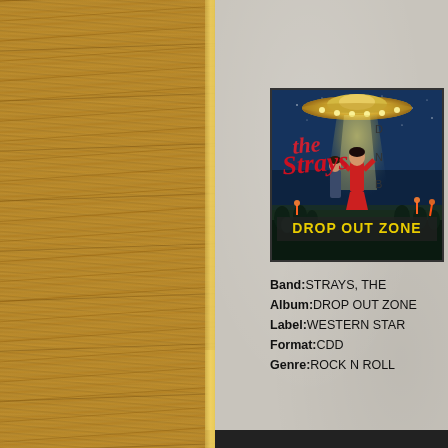[Figure (photo): Left panel showing wood grain texture background in brown/tan tones with vertical grain lines]
[Figure (photo): Album cover for 'Drop Out Zone' by The Strays. Shows a retro sci-fi scene with a flying saucer beaming light down onto a woman in red and a crowd, with 'the Strays' in red script lettering and 'DROP OUT ZONE' in yellow bold text at the bottom.]
Band:STRAYS, THE
Album:DROP OUT ZONE
Label:WESTERN STAR
Format:CDD
Genre:ROCK N ROLL